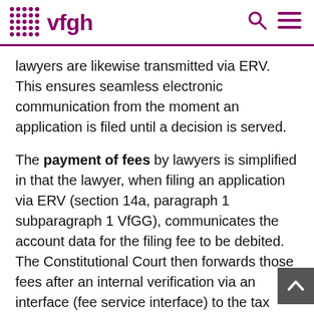vfgh
lawyers are likewise transmitted via ERV. This ensures seamless electronic communication from the moment an application is filed until a decision is served.
The payment of fees by lawyers is simplified in that the lawyer, when filing an application via ERV (section 14a, paragraph 1 subparagraph 1 VfGG), communicates the account data for the filing fee to be debited. The Constitutional Court then forwards those fees after an internal verification via an interface (fee service interface) to the tax office for fees, transfer taxes and gambling